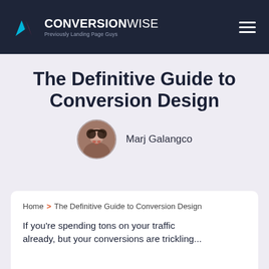ConversionWise — Previously Landing Page Guys
The Definitive Guide to Conversion Design
Marj Galangco
Home > The Definitive Guide to Conversion Design
If you're spending tons on your traffic already, but your conversions are trickling...